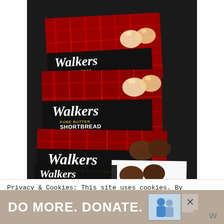[Figure (photo): Photo of multiple Walkers Pure Butter Shortbread Scottie Dogs cookie boxes arranged overlapping each other. The boxes have red tartan plaid pattern with black label bands. Boxes show both regular and chocolate Scottie Dog varieties. Shortbread cookies shaped like Scottish Terrier dogs are visible in and around the boxes.]
Privacy & Cookies: This site uses cookies. By continuing to use this website, you agree to their use.
To find out more, including how to control cookies, see here: Privacy Policy
[Figure (infographic): Advertisement banner with tan/beige background reading 'DO MORE. DONATE.' in large white bold text, with two small images of people, a close button (X), and a WordPress logo (W) in the bottom right corner.]